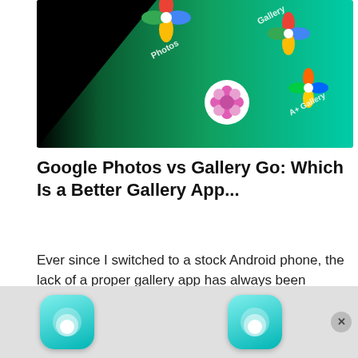[Figure (photo): Smartphone screen showing multiple gallery app icons including Google Photos, Gallery, A+ Gallery, and a stock photos app on a green gradient background]
Google Photos vs Gallery Go: Which Is a Better Gallery App...
Ever since I switched to a stock Android phone, the lack of a proper gallery app has always been bothering me. Sure, the phone comes...
[Figure (photo): Magic hat with golden stars bursting out of it on a dark background, with two teal app icons at the bottom forming an advertisement bar]